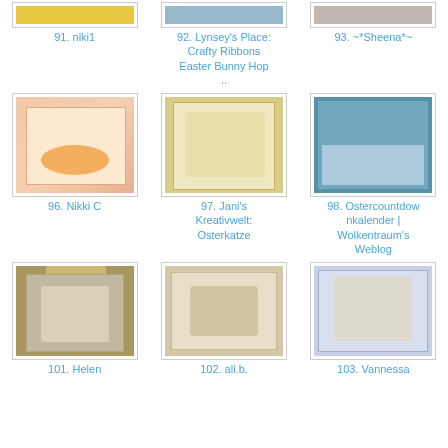[Figure (photo): Thumbnail image 91 - crafts photo]
91. niki1
[Figure (photo): Thumbnail image 92 - crafts photo]
92. Lynsey's Place: Crafty Ribbons Easter Bunny Hop ..
[Figure (photo): Thumbnail image 93 - crafts photo]
93. ~*Sheena*~
[Figure (photo): Thumbnail image 96 - Easter card with basket]
96. Nikki C
[Figure (photo): Thumbnail image 97 - floral Easter cat card]
97. Jani's Kreativwelt: Osterkatze
[Figure (photo): Thumbnail image 98 - blue crafted box]
98. Ostercountdownkalender | Wolkentraum's Weblog
[Figure (photo): Thumbnail image 101 - Easter hanging decoration]
101. Helen
[Figure (photo): Thumbnail image 102 - bunny card]
102. ali.b.
[Figure (photo): Thumbnail image 103 - girl with bunny card]
103. Vannessa